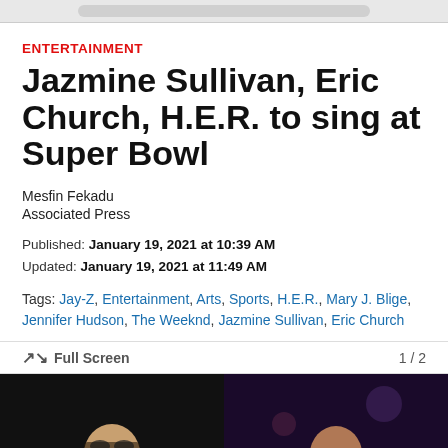browser address bar
ENTERTAINMENT
Jazmine Sullivan, Eric Church, H.E.R. to sing at Super Bowl
Mesfin Fekadu
Associated Press
Published: January 19, 2021 at 10:39 AM
Updated: January 19, 2021 at 11:49 AM
Tags: Jay-Z, Entertainment, Arts, Sports, H.E.R., Mary J. Blige, Jennifer Hudson, The Weeknd, Jazmine Sullivan, Eric Church
Full Screen  1 / 2
[Figure (photo): Two side-by-side performance photos: left shows a male performer with sunglasses on a dark stage; right shows a female performer singing on a purple-lit stage]